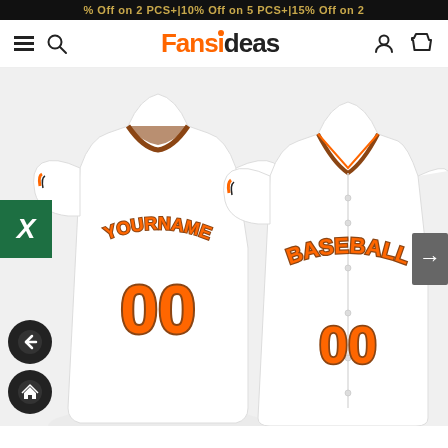% Off on 2 PCS+|10% Off on 5 PCS+|15% Off on 2
[Figure (logo): Fansideas logo with hamburger menu, search icon, user icon, and cart icon navigation bar]
[Figure (photo): White custom baseball jersey shown front and back. Back has YOURNAME arched text and number 00 in orange with dark outline. Front shows BASEBALL arched text and number 00 in orange. Jersey has orange and black trim on collar and sleeves. Left side shows Excel-like green icon with X. Right side has gray arrow navigation button. Bottom left has back arrow and home icons.]